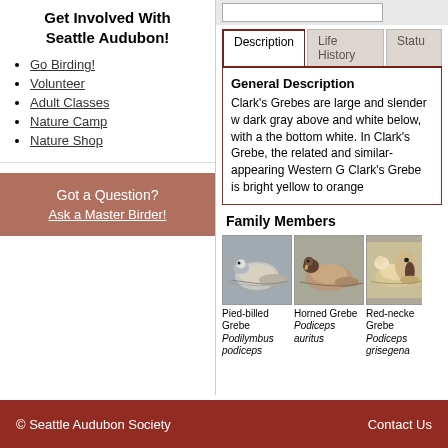Get Involved With Seattle Audubon!
Go Birding!
Volunteer
Adult Classes
Nature Camp
Nature Shop
Got a Question? Ask a Master Birder!
Description
Life History
Status
General Description
Clark's Grebes are large and slender w... dark gray above and white below, with a the bottom white. In Clark's Grebe, the related and similar-appearing Western G Clark's Grebe is bright yellow to orange
Family Members
Pied-billed Grebe Podilymbus podiceps
Horned Grebe Podiceps auritus
Red-necked Grebe Podiceps grisegena
© Seattle Audubon Society
Contact Us